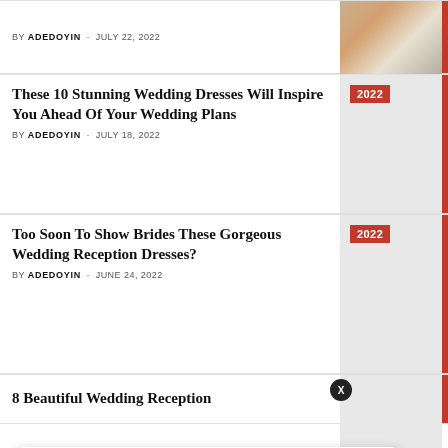BY ADEDOYIN · JULY 22, 2022
[Figure (photo): Wedding photo thumbnail showing bride and groom]
These 10 Stunning Wedding Dresses Will Inspire You Ahead Of Your Wedding Plans
BY ADEDOYIN · JULY 18, 2022
[Figure (other): Article thumbnail with 2022 badge]
Too Soon To Show Brides These Gorgeous Wedding Reception Dresses?
BY ADEDOYIN · JUNE 24, 2022
[Figure (other): Article thumbnail with 2022 badge]
8 Beautiful Wedding Reception
[Figure (other): Article thumbnail]
Exquisite Nigerian Lace Asoebi Styles-Volume 60
13 hours ago